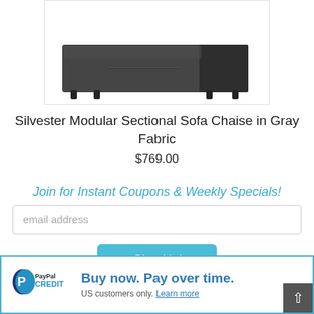[Figure (photo): Product image of a dark gray/charcoal Silvester Modular Sectional Sofa Chaise ottoman/chaise piece, rectangular shape with low profile, shown on white background]
Silvester Modular Sectional Sofa Chaise in Gray Fabric
$769.00
Join for Instant Coupons & Weekly Specials!
email address
Sign Up!
[Figure (logo): PayPal Credit logo with blue P icon and PayPal Credit text]
Buy now. Pay over time.
US customers only. Learn more